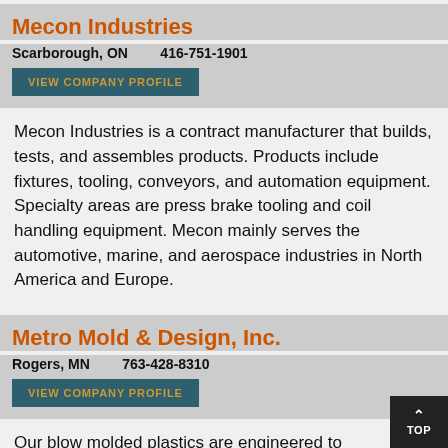Mecon Industries
Scarborough, ON   416-751-1901
VIEW COMPANY PROFILE
Mecon Industries is a contract manufacturer that builds, tests, and assembles products. Products include fixtures, tooling, conveyors, and automation equipment. Specialty areas are press brake tooling and coil handling equipment. Mecon mainly serves the automotive, marine, and aerospace industries in North America and Europe.
Metro Mold & Design, Inc.
Rogers, MN   763-428-8310
VIEW COMPANY PROFILE
Our blow molded plastics are engineered to meet the needs of your exact application. The reliable staff here at Metro Mold & Design, Inc. will work with you to determine the best specifications down to the part weight and wall thickness. You